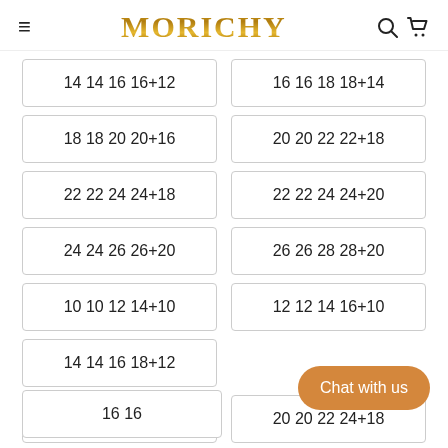MORICHY
14 14 16 16+12
16 16 18 18+14
18 18 20 20+16
20 20 22 22+18
22 22 24 24+18
22 22 24 24+20
24 24 26 26+20
26 26 28 28+20
10 10 12 14+10
12 12 14 16+10
14 14 16 18+12
16 16
18 18 20 22+16
20 20 22 24+18
Chat with us